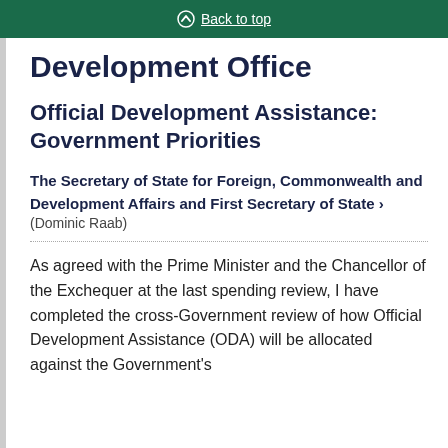Back to top
Development Office
Official Development Assistance: Government Priorities
The Secretary of State for Foreign, Commonwealth and Development Affairs and First Secretary of State > (Dominic Raab)
As agreed with the Prime Minister and the Chancellor of the Exchequer at the last spending review, I have completed the cross-Government review of how Official Development Assistance (ODA) will be allocated against the Government's